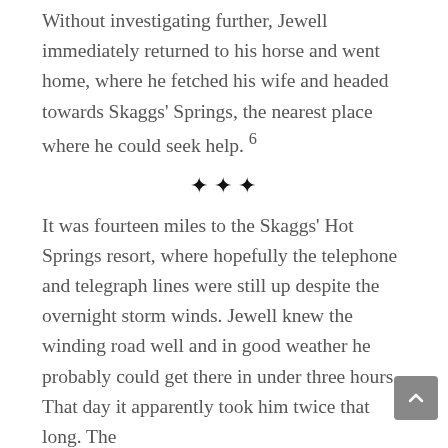Without investigating further, Jewell immediately returned to his horse and went home, where he fetched his wife and headed towards Skaggs' Springs, the nearest place where he could seek help. 6
✦✦✦
It was fourteen miles to the Skaggs' Hot Springs resort, where hopefully the telephone and telegraph lines were still up despite the overnight storm winds. Jewell knew the winding road well and in good weather he probably could get there in under three hours. That day it apparently took him twice that long. The